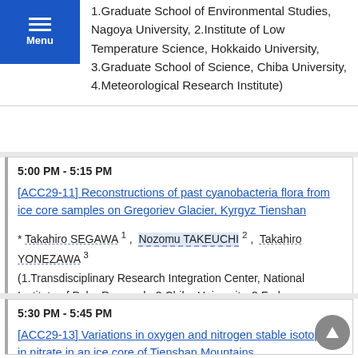1.Graduate School of Environmental Studies, Nagoya University, 2.Institute of Low Temperature Science, Hokkaido University, 3.Graduate School of Science, Chiba University, 4.Meteorological Research Institute)
5:00 PM - 5:15 PM
[ACC29-11] Reconstructions of past cyanobacteria flora from ice core samples on Gregoriev Glacier, Kyrgyz Tienshan
* Takahiro SEGAWA 1, Nozomu TAKEUCHI 2, Takahiro YONEZAWA 3
(1.Transdisciplinary Research Integration Center, National Institute of Polar Research, 2.Chiba University, 3.Fudan University)
5:30 PM - 5:45 PM
[ACC29-13] Variations in oxygen and nitrogen stable isotopes in nitrate in an ice core of Tienshan Mountains